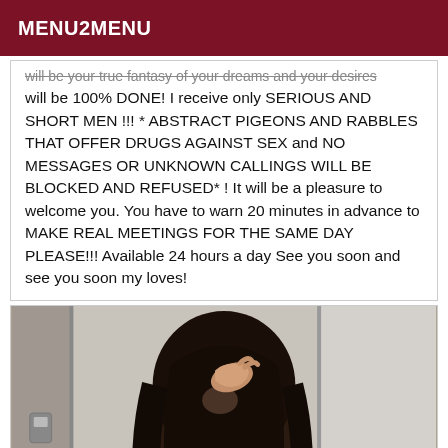MENU2MENU
will be your true fantasy of your dreams and your desires will be 100% DONE! I receive only SERIOUS AND SHORT MEN !!! * ABSTRACT PIGEONS AND RABBLES THAT OFFER DRUGS AGAINST SEX and NO MESSAGES OR UNKNOWN CALLINGS WILL BE BLOCKED AND REFUSED* ! It will be a pleasure to welcome you. You have to warn 20 minutes in advance to MAKE REAL MEETINGS FOR THE SAME DAY PLEASE!!! Available 24 hours a day See you soon and see you soon my loves!
[Figure (photo): Person with long dark hair covering their face, photographed in a mirror or reflective surface, indoor background with light walls]